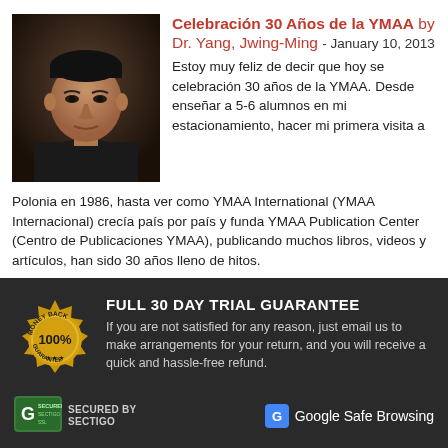[Figure (photo): Portrait photo of Dr. Yang, Jwing-Ming wearing a dark shirt, headshot against a dark background]
Celebración 30 Años de la YMAA by Dr. Yang, Jwing-Ming - January 10, 2013
Estoy muy feliz de decir que hoy se celebración 30 años de la YMAA. Desde enseñar a 5-6 alumnos en mi estacionamiento, hacer mi primera visita a Polonia en 1986, hasta ver como YMAA International (YMAA Internacional) crecía país por país y funda YMAA Publication Center (Centro de Publicaciones YMAA), publicando muchos libros, videos y artículos, han sido 30 años lleno de hitos.
[Figure (logo): Gold/yellow circular Money Back 100% Guarantee badge/seal]
FULL 30 DAY TRIAL GUARANTEE
If you are not satisfied for any reason, just email us to make arrangements for your return, and you will receive a quick and hassle-free refund.
[Figure (logo): Secured by Sectigo / SSL security badge (green)]
Google Safe Browsing